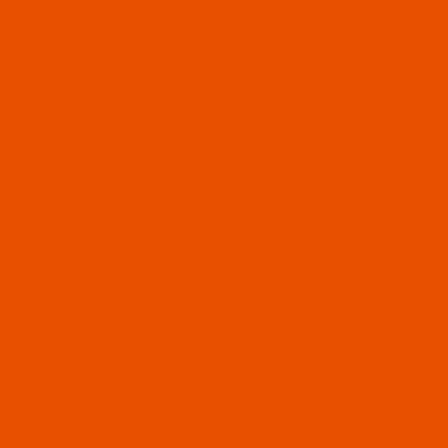cross, to look at pictures of the Guatape.
The cruise over, we head back. With an hour to spare, we lounged the bus stop and watch children
Back on the bus, one of the he'd paid $150 for a round Medellin. "That's less than what "I'm thinking of coming back ne
So am I.
Read the article:
http://www.washingtonpost.com dyn/content/article/2010/11/19 sid=ST2010111904015